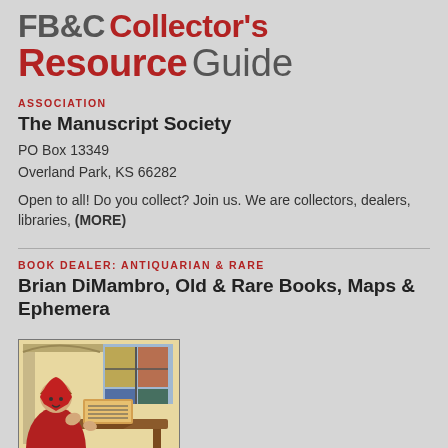FB&C Collector's Resource Guide
ASSOCIATION
The Manuscript Society
PO Box 13349
Overland Park, KS 66282
Open to all! Do you collect? Join us. We are collectors, dealers, libraries, (MORE)
BOOK DEALER: ANTIQUARIAN & RARE
Brian DiMambro, Old & Rare Books, Maps & Ephemera
[Figure (illustration): Medieval illuminated manuscript illustration showing a monk or scribe in red robes reading or writing at a desk, with architectural elements and decorative patterns in the background]